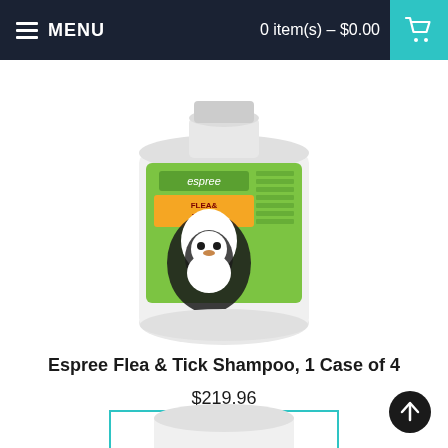MENU   0 item(s) - $0.00
[Figure (photo): Large white plastic jug of Espree Flea & Tick Shampoo with green label featuring a Bernese Mountain Dog]
Espree Flea & Tick Shampoo, 1 Case of 4
$219.96
ADD TO CART
[Figure (photo): Partial view of another product (white container) visible at the bottom of the page]
[Figure (other): Back to top circular arrow button in bottom right corner]